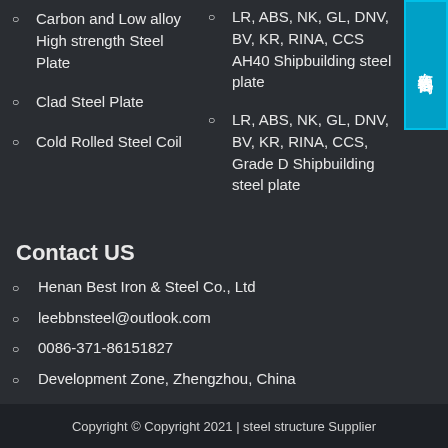Carbon and Low alloy High strength Steel Plate
Clad Steel Plate
Cold Rolled Steel Coil
LR, ABS, NK, GL, DNV, BV, KR, RINA, CCS AH40 Shipbuilding steel plate
LR, ABS, NK, GL, DNV, BV, KR, RINA, CCS, Grade D Shipbuilding steel plate
Contact US
Henan Best Iron & Steel Co., Ltd
leebbnsteel@outlook.com
0086-371-86151827
Development Zone, Zhengzhou, China
Copyright © Copyright 2021 | steel structure Supplier